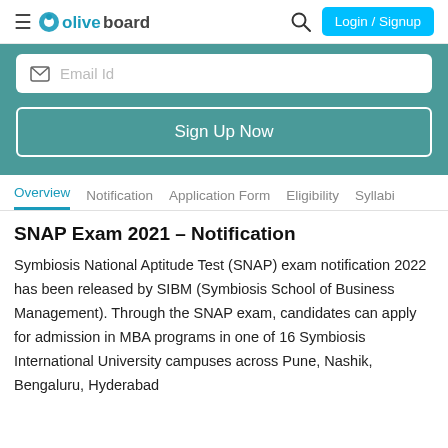oliveboard — Login / Signup
[Figure (screenshot): Email Id input field with envelope icon inside a white rounded box on a teal background, followed by a Sign Up Now button with white border]
Overview | Notification | Application Form | Eligibility | Syllabus
SNAP Exam 2021 – Notification
Symbiosis National Aptitude Test (SNAP) exam notification 2022 has been released by SIBM (Symbiosis School of Business Management). Through the SNAP exam, candidates can apply for admission in MBA programs in one of 16 Symbiosis International University campuses across Pune, Nashik, Bengaluru, Hyderabad